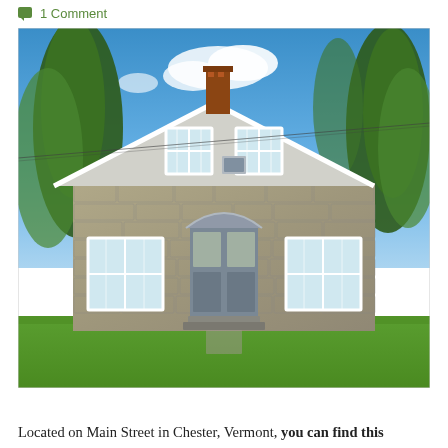1 Comment
[Figure (photo): Front exterior of a historic stone house on Main Street in Chester, Vermont. The two-story building features granite stone walls, white-trimmed windows, a central arched entrance door, a brick chimney, and is surrounded by mature trees and green lawn under a blue sky.]
Located on Main Street in Chester, Vermont, you can find this